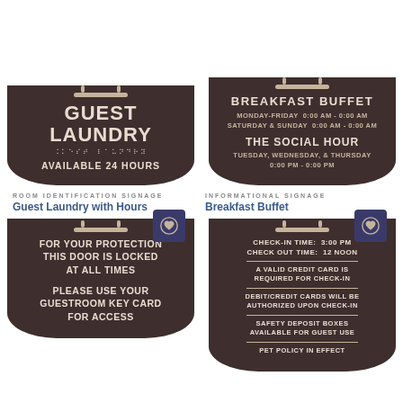[Figure (illustration): Hotel sign for Guest Laundry with hanger graphic, braille text, reading GUEST LAUNDRY / AVAILABLE 24 HOURS, dark brown rounded-bottom shape]
[Figure (illustration): Hotel informational sign for Breakfast Buffet with hours Monday-Friday 0:00 AM - 0:00 AM, Saturday & Sunday 0:00 AM - 0:00 AM, and The Social Hour Tuesday, Wednesday, & Thursday 0:00 PM - 0:00 PM]
ROOM IDENTIFICATION SIGNAGE
Guest Laundry with Hours
INFORMATIONAL SIGNAGE
Breakfast Buffet
[Figure (illustration): Hotel door sign: FOR YOUR PROTECTION THIS DOOR IS LOCKED AT ALL TIMES / PLEASE USE YOUR GUESTROOM KEY CARD FOR ACCESS, with heart badge icon]
[Figure (illustration): Hotel informational sign: CHECK-IN TIME: 3:00 PM / CHECK OUT TIME: 12 NOON / A VALID CREDIT CARD IS REQUIRED FOR CHECK-IN / DEBIT/CREDIT CARDS WILL BE AUTHORIZED UPON CHECK-IN / SAFETY DEPOSIT BOXES AVAILABLE FOR GUEST USE / PET POLICY IN EFFECT, with heart badge icon]